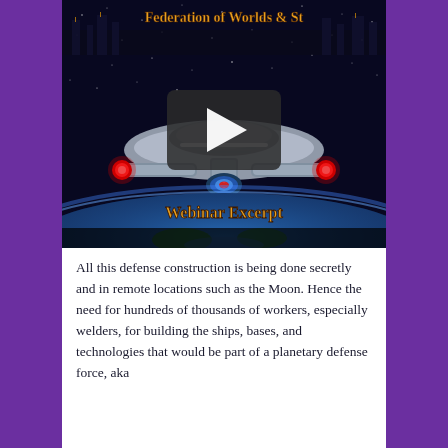[Figure (screenshot): Video thumbnail showing a spaceship (Star Trek-style) above Earth in space, with text overlay 'Federation of Worlds & St' at top in golden font, and 'Webinar Excerpt' in golden font at center-bottom. A play button triangle is visible in the center of the image.]
All this defense construction is being done secretly and in remote locations such as the Moon. Hence the need for hundreds of thousands of workers, especially welders, for building the ships, bases, and technologies that would be part of a planetary defense force, aka